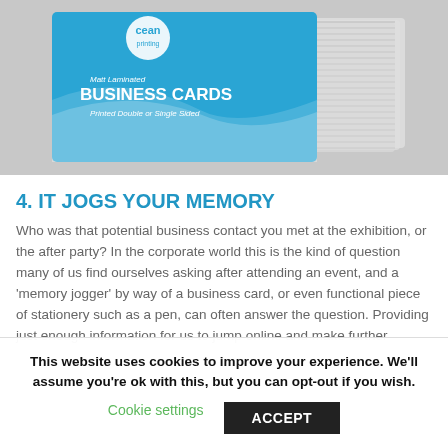[Figure (photo): Photo of a stack of Matt Laminated Business Cards from Ocean Printing, printed double or single sided, shown on a grey background]
4. IT JOGS YOUR MEMORY
Who was that potential business contact you met at the exhibition, or the after party? In the corporate world this is the kind of question many of us find ourselves asking after attending an event, and a 'memory jogger' by way of a business card, or even functional piece of stationery such as a pen, can often answer the question. Providing just enough information for us to jump online and make further
This website uses cookies to improve your experience. We'll assume you're ok with this, but you can opt-out if you wish.
Cookie settings    ACCEPT